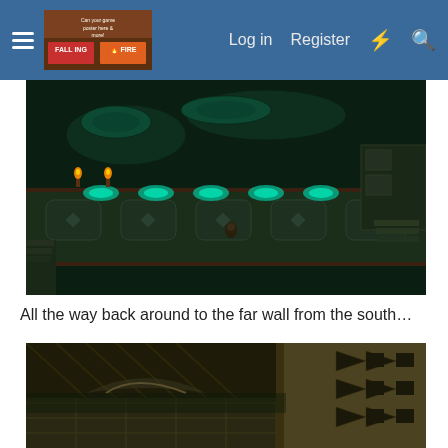Log in  Register
[Figure (screenshot): Top-down view of a dark fantasy game dungeon or temple area with glowing teal pools/lights along a corridor, decorative stone floor tiles, and torches. Green/teal glowing shapes line a central path.]
All the way back around to the far wall from the south…
[Figure (screenshot): Close-up view of a dark fantasy game environment showing stone walls with decorative triangular arrow-like motifs pointing left, and stone floor tiles with a diagonal pattern.]